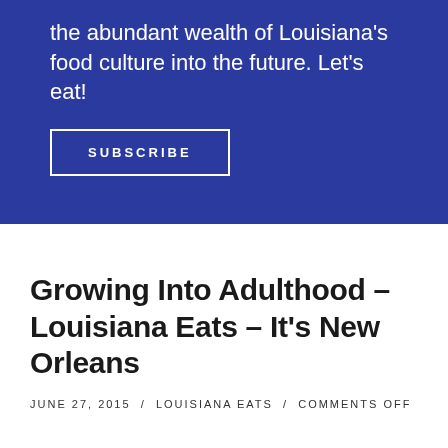the abundant wealth of Louisiana's food culture into the future. Let's eat!
SUBSCRIBE
Growing Into Adulthood – Louisiana Eats – It's New Orleans
JUNE 27, 2015 / LOUISIANA EATS / COMMENTS OFF